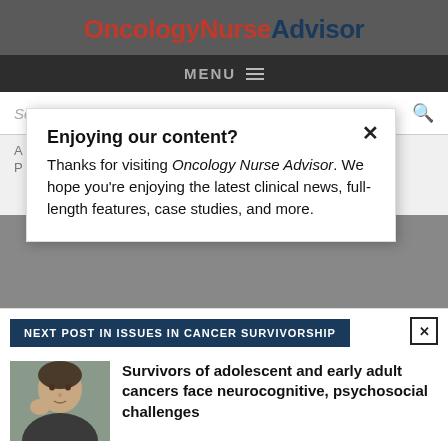OncologyNurseAdvisor
MENU
Search...
Enjoying our content?
Thanks for visiting Oncology Nurse Advisor. We hope you're enjoying the latest clinical news, full-length features, case studies, and more.
NEXT POST IN ISSUES IN CANCER SURVIVORSHIP
Survivors of adolescent and early adult cancers face neurocognitive, psychosocial challenges
LOGIN   REGISTER